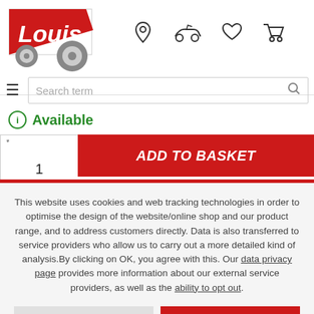[Figure (logo): Louis motorcycle accessories logo with rider graphic, red and grey]
[Figure (infographic): Header navigation icons: location pin, motorcycle, heart/wishlist, shopping cart]
Search term
Available
1
ADD TO BASKET
This website uses cookies and web tracking technologies in order to optimise the design of the website/online shop and our product range, and to address customers directly. Data is also transferred to service providers who allow us to carry out a more detailed kind of analysis.By clicking on OK, you agree with this. Our data privacy page provides more information about our external service providers, as well as the ability to opt out.
DECLINE
OK